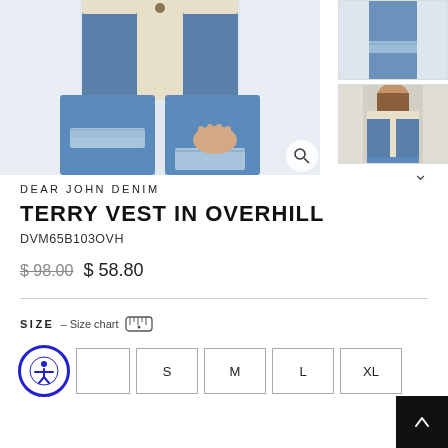[Figure (photo): Model wearing a denim vest with sherpa/furry trim over a white long-sleeve shirt and ripped jeans. Close-up from torso to knees.]
[Figure (photo): Thumbnail: side/back view of model in ripped jeans.]
[Figure (photo): Thumbnail: front view of model wearing Terry Vest in Overhill with sherpa lining, denim exterior.]
DEAR JOHN DENIM
TERRY VEST IN OVERHILL
DVM65B103OVH
$98.00  $58.80
SIZE – Size chart
S
M
L
XL